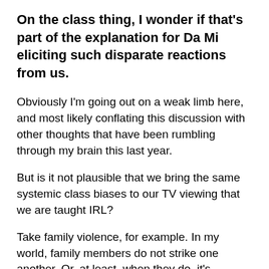On the class thing, I wonder if that's part of the explanation for Da Mi eliciting such disparate reactions from us.
Obviously I'm going out on a weak limb here, and most likely conflating this discussion with other thoughts that have been rumbling through my brain this last year.
But is it not plausible that we bring the same systemic class biases to our TV viewing that we are taught IRL?
Take family violence, for example. In my world, family members do not strike one another. Or, at least, when they do, it's considered a serious problem.